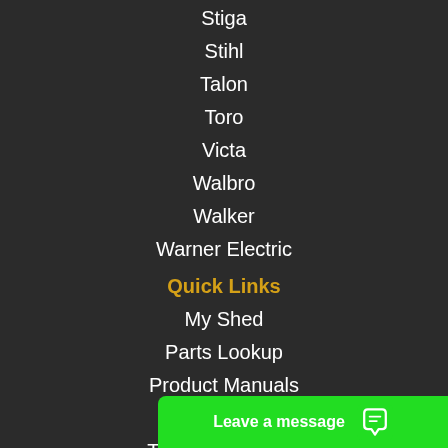Stiga
Stihl
Talon
Toro
Victa
Walbro
Walker
Warner Electric
Quick Links
My Shed
Parts Lookup
Product Manuals
Find Your Part
Trade Customers
S…
Leave a message